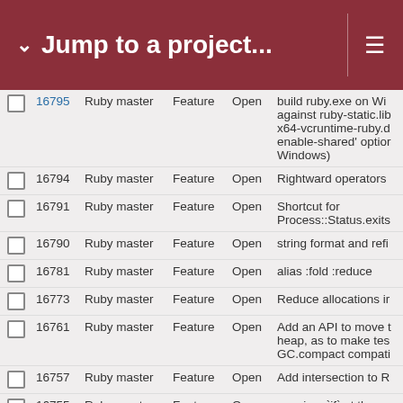Jump to a project...
|  | # | Project | Type | Status | Subject |
| --- | --- | --- | --- | --- | --- |
|  | 16795 | Ruby master | Feature | Open | build ruby.exe on Windows against ruby-static.lib x64-vcruntime-ruby.dll enable-shared' option Windows) |
|  | 16794 | Ruby master | Feature | Open | Rightward operators |
|  | 16791 | Ruby master | Feature | Open | Shortcut for Process::Status.exits |
|  | 16790 | Ruby master | Feature | Open | string format and refi |
|  | 16781 | Ruby master | Feature | Open | alias :fold :reduce |
|  | 16773 | Ruby master | Feature | Open | Reduce allocations in |
|  | 16761 | Ruby master | Feature | Open | Add an API to move t heap, as to make tes GC.compact compati |
|  | 16757 | Ruby master | Feature | Open | Add intersection to R |
|  | 16755 | Ruby master | Feature | Open | warning: `if' at the en without an expression |
|  | 16752 | Ruby master | Feature | Open | :private param for co |
|  | 16745 | Ruby master | Feature | Open | Improving Date and D comparison |
|  | 16742 | Ruby master | Feature | Open | RbConfig.windows? a RbConfig.host_os |